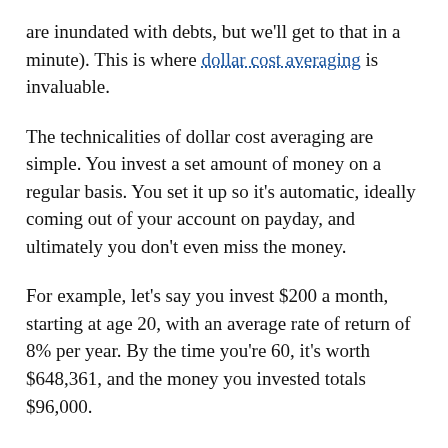are inundated with debts, but we'll get to that in a minute). This is where dollar cost averaging is invaluable.
The technicalities of dollar cost averaging are simple. You invest a set amount of money on a regular basis. You set it up so it's automatic, ideally coming out of your account on payday, and ultimately you don't even miss the money.
For example, let's say you invest $200 a month, starting at age 20, with an average rate of return of 8% per year. By the time you're 60, it's worth $648,361, and the money you invested totals $96,000.
If you wait until 30, your $200 per month would be worth $283,522; to get the same $650,000 if you'd started at 20, you'd need to invest $430 per month, totaling $154,800.